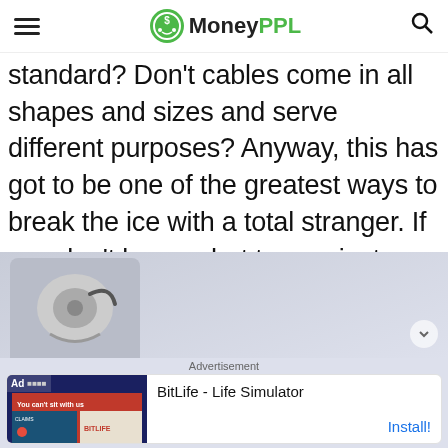MoneyPPL
standard? Don't cables come in all shapes and sizes and serve different purposes? Anyway, this has got to be one of the greatest ways to break the ice with a total stranger. If you don't know what to say, just send them a picture of something and tell them what it is.
[Figure (screenshot): Advertisement banner showing BitLife - Life Simulator app with install button]
Advertisement